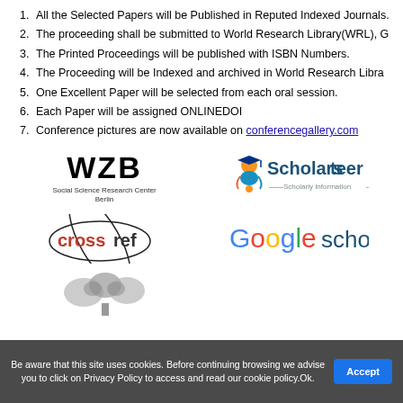All the Selected Papers will be Published in Reputed Indexed Journals.
The proceeding shall be submitted to World Research Library(WRL), G
The Printed Proceedings will be published with ISBN Numbers.
The Proceeding will be Indexed and archived in World Research Libra
One Excellent Paper will be selected from each oral session.
Each Paper will be assigned ONLINEDOI
Conference pictures are now available on conferencegallery.com
[Figure (logo): WZB Social Science Research Center Berlin logo]
[Figure (logo): Scholarsteer Scholarly Information logo]
[Figure (logo): CrossRef logo]
[Figure (logo): Google Scholar logo (partially visible)]
[Figure (logo): Elsevier tree logo (partially visible)]
Be aware that this site uses cookies. Before continuing browsing we advise you to click on Privacy Policy to access and read our cookie policy.Ok.